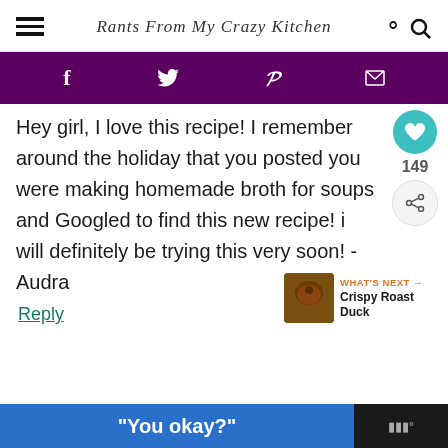Rants From My Crazy Kitchen
[Figure (infographic): Purple social sharing bar with Facebook, Twitter, Pinterest, and email icons in white]
Hey girl, I love this recipe! I remember around the holiday that you posted you were making homemade broth for soups and Googled to find this new recipe! i will definitely be trying this very soon! -Audra
Reply
[Figure (infographic): What's Next widget showing a thumbnail image and text 'Crispy Roast Duck']
[Figure (infographic): Bottom advertisement bar with blue section containing text "You okay?" in white bold text]